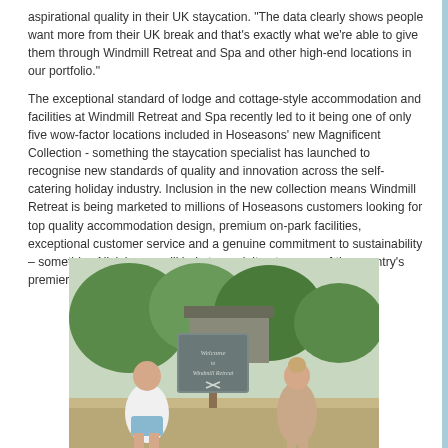aspirational quality in their UK staycation. "The data clearly shows people want more from their UK break and that's exactly what we're able to give them through Windmill Retreat and Spa and other high-end locations in our portfolio."
The exceptional standard of lodge and cottage-style accommodation and facilities at Windmill Retreat and Spa recently led to it being one of only five wow-factor locations included in Hoseasons' new Magnificent Collection - something the staycation specialist has launched to recognise new standards of quality and innovation across the self-catering holiday industry. Inclusion in the new collection means Windmill Retreat is being marketed to millions of Hoseasons customers looking for top quality accommodation design, premium on-park facilities, exceptional customer service and a genuine commitment to sustainability – something Nick hopes will help to mark it out as one of the country's premier locations for an aspirational getaway.
[Figure (photo): Two people sitting outdoors in front of a wooden sign reading 'Welcome to Windmill Retreat' with an X logo. A man in a white shirt and blue shorts sits on the left, and a woman in a beige outfit sits on the right. Green trees and a building are visible in the background.]